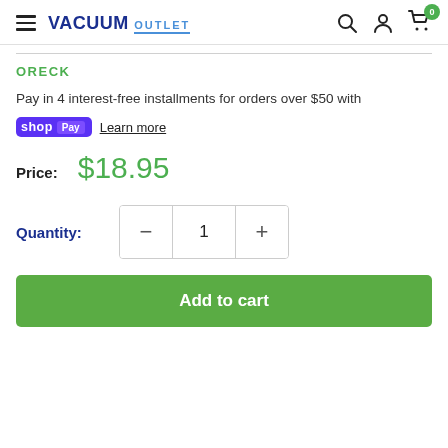VACUUM OUTLET
ORECK
Pay in 4 interest-free installments for orders over $50 with shop Pay Learn more
Price: $18.95
Quantity: 1
Add to cart